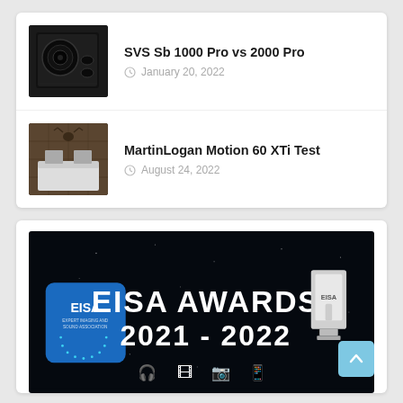SVS Sb 1000 Pro vs 2000 Pro
January 20, 2022
MartinLogan Motion 60 XTi Test
August 24, 2022
[Figure (photo): EISA Awards 2021-2022 promotional banner with EISA logo, award trophy, and icons for audio, media, video, mobile, and other categories on dark blue background]